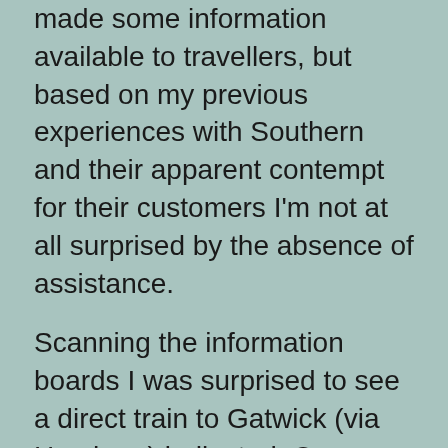made some information available to travellers, but based on my previous experiences with Southern and their apparent contempt for their customers I'm not at all surprised by the absence of assistance.
Scanning the information boards I was surprised to see a direct train to Gatwick (via Horsham) indicated. On previous occasions when there's been engineering work, my experience of the 'rail replacement' service has been rather poor: long queues to board and slow journeys. So absent any information I presumed the Horsham train would be fine.